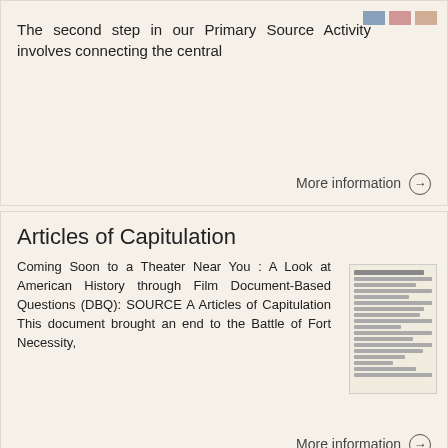The second step in our Primary Source Activity involves connecting the central
More information →
Articles of Capitulation
Coming Soon to a Theater Near You : A Look at American History through Film Document-Based Questions (DBQ): SOURCE A Articles of Capitulation This document brought an end to the Battle of Fort Necessity,
[Figure (photo): Thumbnail image of a historical document - Articles of Capitulation]
More information →
Do Now. Do the colony s reasons for separation from England justify the Declaration of Independence?
Do Now 1. What does the Declaration of Independence mean to you? 2. What do you
[Figure (photo): Thumbnail image of Declaration of Independence document]